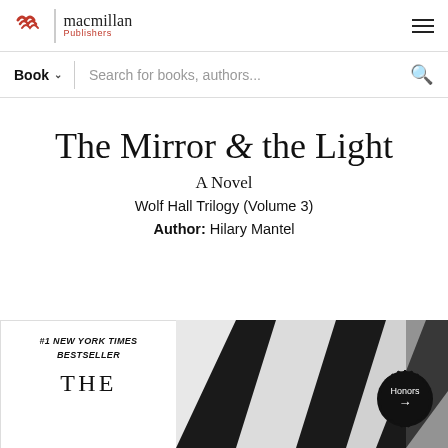macmillan Publishers
Book   Search for books, authors...
The Mirror & the Light
A Novel
Wolf Hall Trilogy (Volume 3)
Author:  Hilary Mantel
[Figure (screenshot): Book cover preview showing bottom portion: #1 New York Times Bestseller badge on white background left side, and black and white geometric book cover design on right side, with a dark circular Honors badge with arrow]
#1 NEW YORK TIMES BESTSELLER
THE